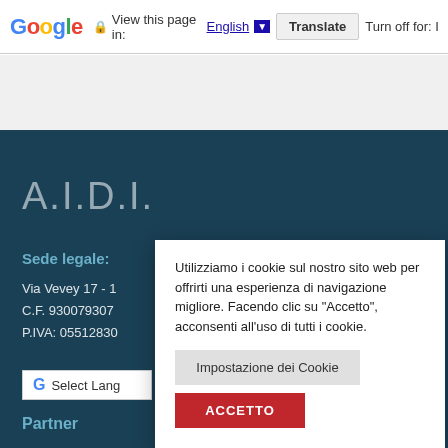Google  View this page in: English ▼  Translate  Turn off for: It
A.I.D.I.
Sede legale:
Via Vevey 17 - 1...
C.F. 930079307...
P.IVA: 0551283...
G  Select Lang...
Partner
Utilizziamo i cookie sul nostro sito web per offrirti una esperienza di navigazione migliore. Facendo clic su "Accetto", acconsenti all'uso di tutti i cookie.
Impostazione dei Cookie
ACCETTO